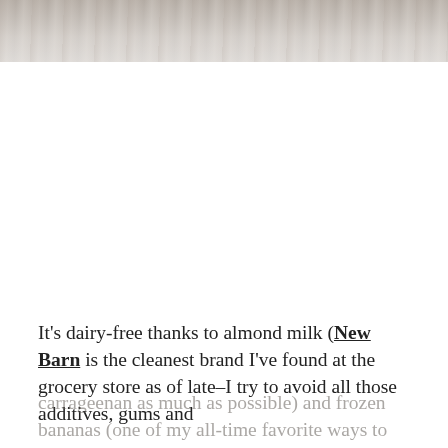[Figure (photo): Top portion of a food/smoothie photo showing a light-colored marble or cream textured surface, partially cropped at the top of the page.]
It's dairy-free thanks to almond milk (New Barn is the cleanest brand I've found at the grocery store as of late–I try to avoid all those additives, gums and carrageenan as much as possible) and frozen bananas (one of my all-time favorite ways to add